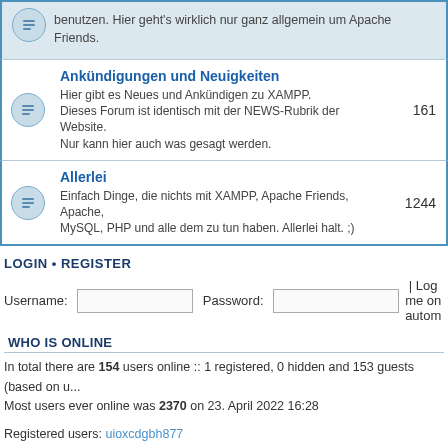benutzen. Hier geht's wirklich nur ganz allgemein um Apache Friends.
Ankündigungen und Neuigkeiten
Hier gibt es Neues und Ankündigen zu XAMPP. Dieses Forum ist identisch mit der NEWS-Rubrik der Website. Nur kann hier auch was gesagt werden.
161
Allerlei
Einfach Dinge, die nichts mit XAMPP, Apache Friends, Apache, MySQL, PHP und alle dem zu tun haben. Allerlei halt. ;)
1244
LOGIN • REGISTER
Username:  Password:  | Log me on autom
WHO IS ONLINE
In total there are 154 users online :: 1 registered, 0 hidden and 153 guests (based on u...
Most users ever online was 2370 on 23. April 2022 16:28
Registered users: uioxcdgbh877
Legend: Administrators, Global moderators
STATISTICS
Total posts 232070 • Total topics 56579 • Total members 106602 • Our newest member s
Board index   The team • Delete all
Powered by Bitnami phpBB
Privacy Policy